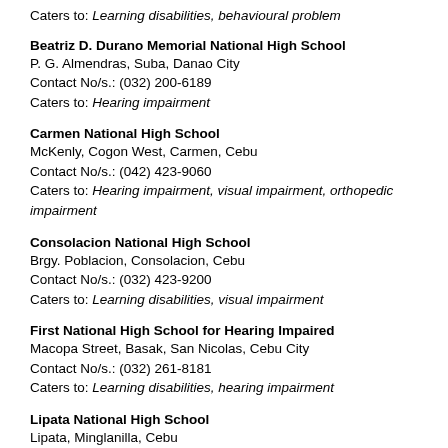Caters to: Learning disabilities, behavioural problem
Beatriz D. Durano Memorial National High School
P. G. Almendras, Suba, Danao City
Contact No/s.: (032) 200-6189
Caters to: Hearing impairment
Carmen National High School
McKenly, Cogon West, Carmen, Cebu
Contact No/s.: (042) 423-9060
Caters to: Hearing impairment, visual impairment, orthopedic impairment
Consolacion National High School
Brgy. Poblacion, Consolacion, Cebu
Contact No/s.: (032) 423-9200
Caters to: Learning disabilities, visual impairment
First National High School for Hearing Impaired
Macopa Street, Basak, San Nicolas, Cebu City
Contact No/s.: (032) 261-8181
Caters to: Learning disabilities, hearing impairment
Lipata National High School
Lipata, Minglanilla, Cebu
Contact No/s.: (032) 4906092; 2674472; lipatanhs@depedcebu.ph
Caters to: Learning disabilities, hearing impairment, chronic illness, develo...